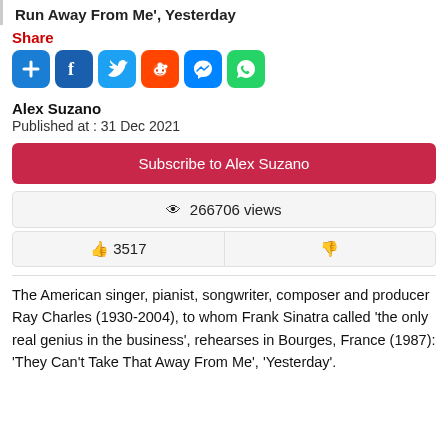Run Away From Me', Yesterday
Share
[Figure (other): Social share buttons: Add, Facebook, Twitter, Reddit, Messenger, WhatsApp]
Alex Suzano
Published at : 31 Dec 2021
Subscribe to Alex Suzano
266706 views
3517
The American singer, pianist, songwriter, composer and producer Ray Charles (1930-2004), to whom Frank Sinatra called 'the only real genius in the business', rehearses in Bourges, France (1987): 'They Can't Take That Away From Me', 'Yesterday'.